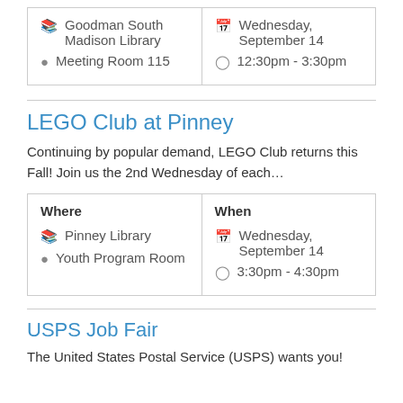| Where | When |
| --- | --- |
| Goodman South Madison Library
Meeting Room 115 | Wednesday, September 14
12:30pm - 3:30pm |
LEGO Club at Pinney
Continuing by popular demand, LEGO Club returns this Fall! Join us the 2nd Wednesday of each…
| Where | When |
| --- | --- |
| Pinney Library
Youth Program Room | Wednesday, September 14
3:30pm - 4:30pm |
USPS Job Fair
The United States Postal Service (USPS) wants you!